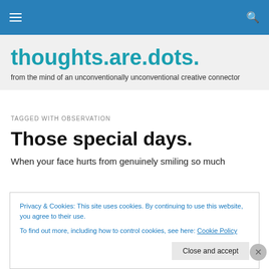Navigation bar with hamburger menu and search icon
thoughts.are.dots.
from the mind of an unconventionally unconventional creative connector
TAGGED WITH OBSERVATION
Those special days.
When your face hurts from genuinely smiling so much
Privacy & Cookies: This site uses cookies. By continuing to use this website, you agree to their use.
To find out more, including how to control cookies, see here: Cookie Policy
Close and accept
Advertisements